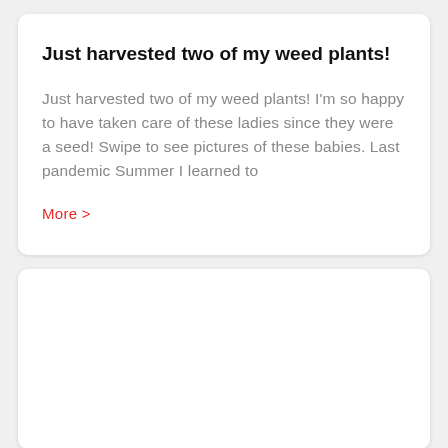Just harvested two of my weed plants!
Just harvested two of my weed plants! I'm so happy to have taken care of these ladies since they were a seed! Swipe to see pictures of these babies. Last pandemic Summer I learned to
More >